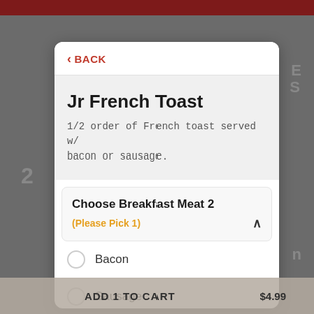BACK
Jr French Toast
1/2 order of French toast served w/ bacon or sausage.
Choose Breakfast Meat 2
(Please Pick 1)
Bacon
Sausage
ADD 1 TO CART  $4.99